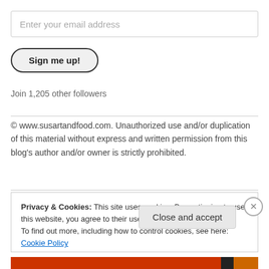Enter your email address
Sign me up!
Join 1,205 other followers
© www.susartandfood.com. Unauthorized use and/or duplication of this material without express and written permission from this blog's author and/or owner is strictly prohibited.
Privacy & Cookies: This site uses cookies. By continuing to use this website, you agree to their use. To find out more, including how to control cookies, see here: Cookie Policy
Close and accept